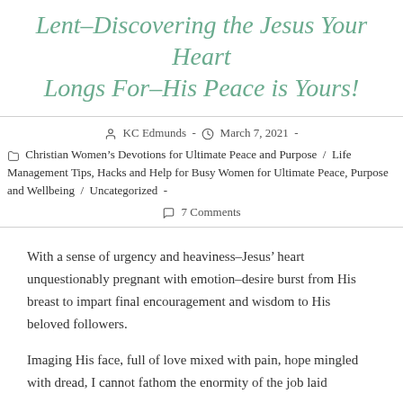Lent–Discovering the Jesus Your Heart Longs For–His Peace is Yours!
KC Edmunds  -  March 7, 2021  -
Christian Women's Devotions for Ultimate Peace and Purpose  /  Life Management Tips, Hacks and Help for Busy Women for Ultimate Peace, Purpose and Wellbeing  /  Uncategorized  -
7 Comments
With a sense of urgency and heaviness–Jesus' heart unquestionably pregnant with emotion–desire burst from His breast to impart final encouragement and wisdom to His beloved followers.
Imaging His face, full of love mixed with pain, hope mingled with dread, I cannot fathom the enormity of the job laid